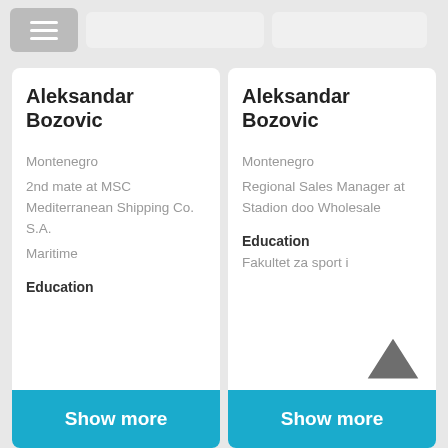[Figure (screenshot): Mobile app header with hamburger menu button and two search/input boxes]
Aleksandar Bozovic
Montenegro
2nd mate at MSC Mediterranean Shipping Co. S.A.
Maritime
Education
Show more
Aleksandar Bozovic
Montenegro
Regional Sales Manager at Stadion doo Wholesale
Education
Fakultet za sport i
Show more